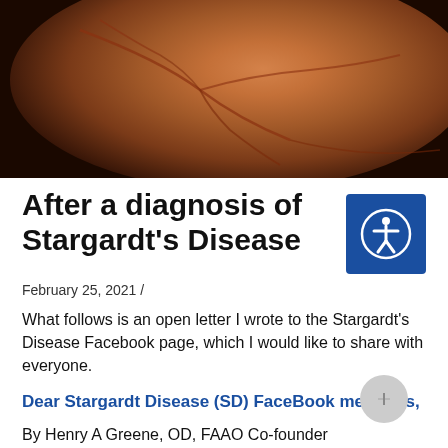[Figure (photo): Close-up retinal fundus photograph showing orange-red retinal tissue with visible blood vessels/veins against a dark background. Likely showing the retina affected by Stargardt's Disease.]
After a diagnosis of Stargardt's Disease
February 25, 2021 /
What follows is an open letter I wrote to the Stargardt's Disease Facebook page, which I would like to share with everyone.
Dear Stargardt Disease (SD) FaceBook members,
By Henry A Greene, OD, FAAO Co-founder